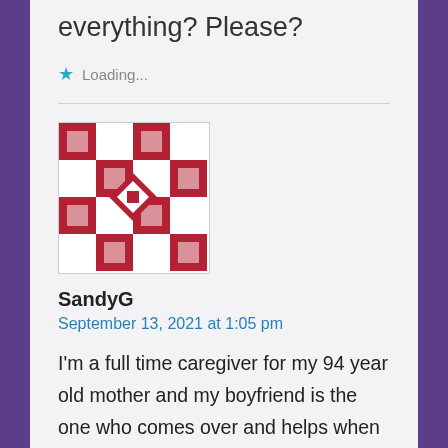everything? Please?
Loading...
[Figure (illustration): User avatar: red/white geometric mosaic pattern icon]
SandyG
September 13, 2021 at 1:05 pm
I'm a full time caregiver for my 94 year old mother and my boyfriend is the one who comes over and helps when there's a problem since my brother lives an hour away. We've been back and forth about getting away for a week. We need a break